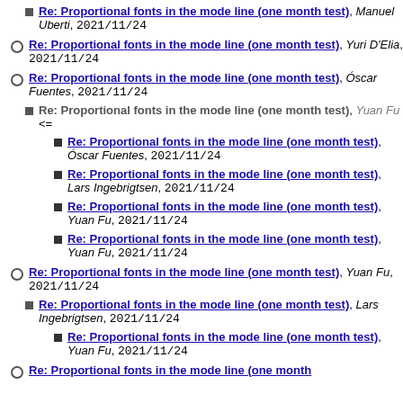Re: Proportional fonts in the mode line (one month test), Manuel Uberti, 2021/11/24
Re: Proportional fonts in the mode line (one month test), Yuri D'Elia, 2021/11/24
Re: Proportional fonts in the mode line (one month test), Óscar Fuentes, 2021/11/24
Re: Proportional fonts in the mode line (one month test), Yuan Fu <=
Re: Proportional fonts in the mode line (one month test), Óscar Fuentes, 2021/11/24
Re: Proportional fonts in the mode line (one month test), Lars Ingebrigtsen, 2021/11/24
Re: Proportional fonts in the mode line (one month test), Yuan Fu, 2021/11/24
Re: Proportional fonts in the mode line (one month test), Yuan Fu, 2021/11/24
Re: Proportional fonts in the mode line (one month test), Yuan Fu, 2021/11/24
Re: Proportional fonts in the mode line (one month test), Lars Ingebrigtsen, 2021/11/24
Re: Proportional fonts in the mode line (one month test), Yuan Fu, 2021/11/24
Re: Proportional fonts in the mode line (one month test)